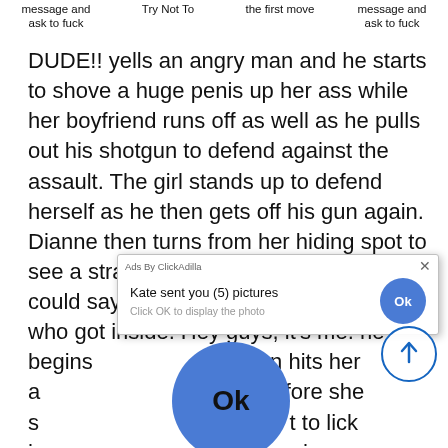message and ask to fuck  |  Try Not To  |  the first move  |  message and ask to fuck
DUDE!! yells an angry man and he starts to shove a huge penis up her ass while her boyfriend runs off as well as he pulls out his shotgun to defend against the assault. The girl stands up to defend herself as he then gets off his gun again. Dianne then turns from her hiding spot to see a stranger she knew but before she could say anything it was her boyfriend who got inside. Hey guys, it's me. he begins... hits her a... fore she s... t to lick h... n her ass tr... his for?!... s they s... groun... the hell d... hbed
[Figure (screenshot): Ad popup overlay from ClickAdilla reading 'Kate sent you (5) pictures - Click OK to display the photo' with a blue OK button, plus a large blue OK button below it, and a scroll-up arrow button]